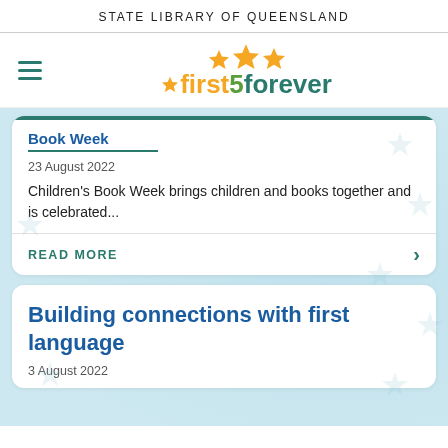STATE LIBRARY OF QUEENSLAND
[Figure (logo): first5forever logo with orange stars and teal/green text]
23 August 2022
Children's Book Week brings children and books together and is celebrated...
READ MORE
Building connections with first language
3 August 2022